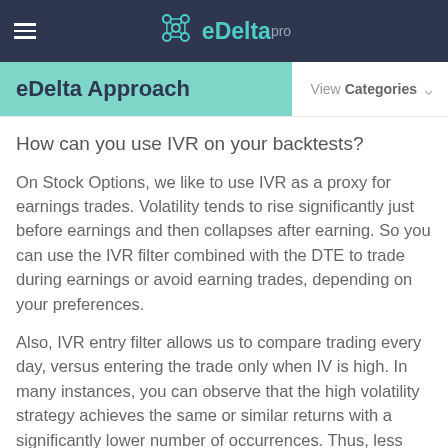eDelta pro
eDelta Approach
How can you use IVR on your backtests?
On Stock Options, we like to use IVR as a proxy for earnings trades. Volatility tends to rise significantly just before earnings and then collapses after earning. So you can use the IVR filter combined with the DTE to trade during earnings or avoid earning trades, depending on your preferences.
Also, IVR entry filter allows us to compare trading every day, versus entering the trade only when IV is high. In many instances, you can observe that the high volatility strategy achieves the same or similar returns with a significantly lower number of occurrences. Thus, less time exposed to the